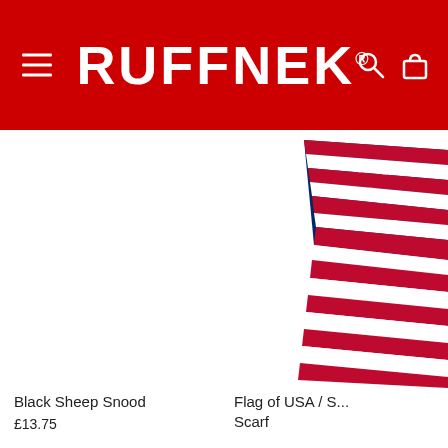RUFFNEK®
[Figure (photo): Blank white product image area for Black Sheep Snood]
Black Sheep Snood
£13.75
[Figure (photo): US flag / stars and stripes scarf product photo, partially cropped]
Flag of USA / S... Scarf